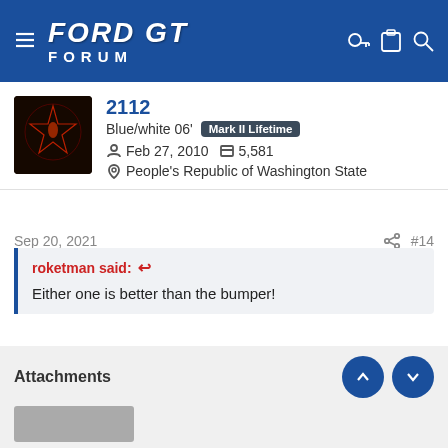FORD GT FORUM
2112
Blue/white 06' Mark II Lifetime
Feb 27, 2010  5,581
People's Republic of Washington State
Sep 20, 2021  #14
roketman said: ↩
Either one is better than the bumper!
+1
Attachments